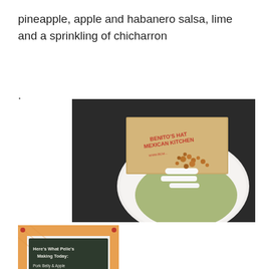pineapple, apple and habanero salsa, lime and a sprinkling of chicharron
.
[Figure (photo): A taco on a white plate with chicharron topping and a Benito's Hat Mexican Kitchen branded paper bag in the background]
[Figure (photo): A chalkboard sign reading 'Here's what Pelie's making today: Pork belly & apple tacos with homemade avocado leaf tortillas.' with an orange gingham tablecloth border]